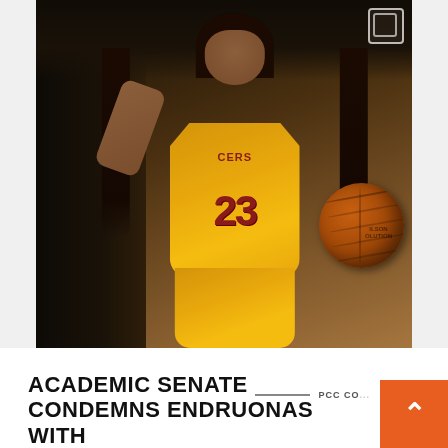[Figure (photo): Female basketball player wearing a yellow #23 Lancers jersey, holding a Wilson basketball, posing in a gymnasium. Dark locker room background.]
ACADEMIC SENATE CONDEMNS ENDRUONAS WITH
PCC CO...